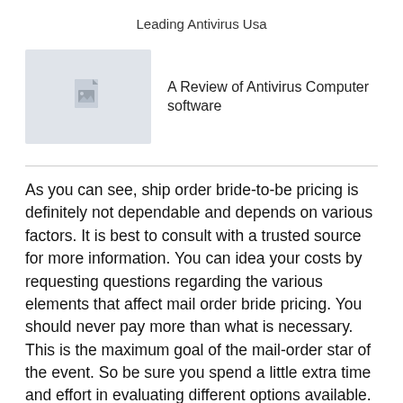Leading Antivirus Usa
[Figure (illustration): Placeholder image icon showing a document with a small photo symbol, on a light grey background]
A Review of Antivirus Computer software
As you can see, ship order bride-to-be pricing is definitely not dependable and depends on various factors. It is best to consult with a trusted source for more information. You can idea your costs by requesting questions regarding the various elements that affect mail order bride pricing. You should never pay more than what is necessary. This is the maximum goal of the mail-order star of the event. So be sure you spend a little extra time and effort in evaluating different options available.